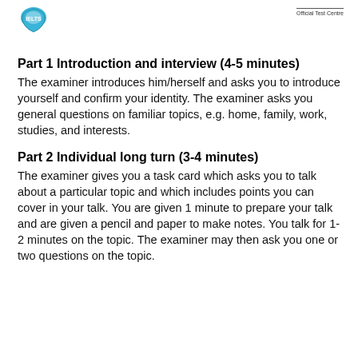Official Test Centre
Part 1 Introduction and interview (4-5 minutes)
The examiner introduces him/herself and asks you to introduce yourself and confirm your identity. The examiner asks you general questions on familiar topics, e.g. home, family, work, studies, and interests.
Part 2 Individual long turn (3-4 minutes)
The examiner gives you a task card which asks you to talk about a particular topic and which includes points you can cover in your talk. You are given 1 minute to prepare your talk and are given a pencil and paper to make notes. You talk for 1-2 minutes on the topic. The examiner may then ask you one or two questions on the topic.